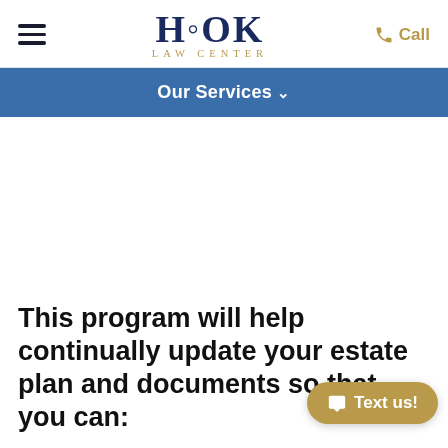Hook Law Center — Our Services
This program will help continually update your estate plan and documents so that you can: